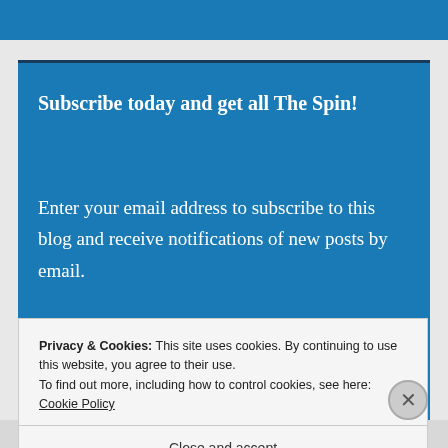Subscribe today and get all The Spin!
Enter your email address to subscribe to this blog and receive notifications of new posts by email.
Privacy & Cookies: This site uses cookies. By continuing to use this website, you agree to their use.
To find out more, including how to control cookies, see here: Cookie Policy
Close and accept